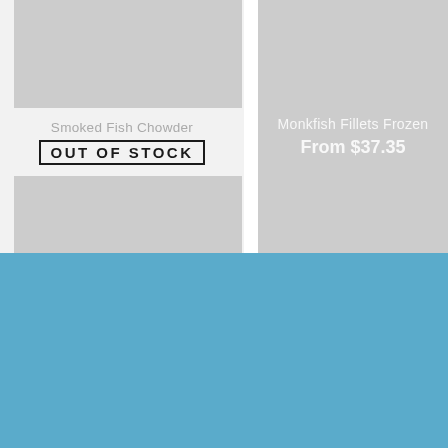[Figure (screenshot): Product card for Smoked Fish Chowder showing a gray placeholder image, product name in gray text, and an OUT OF STOCK badge]
Smoked Fish Chowder
OUT OF STOCK
[Figure (screenshot): Second gray placeholder product image below the out-of-stock card]
[Figure (screenshot): Product card for Monkfish Fillets Frozen showing a gray placeholder image with product name and price overlaid in white text]
Monkfish Fillets Frozen
From $37.35
[Figure (other): Solid light blue / steel blue background area filling the bottom half of the page]